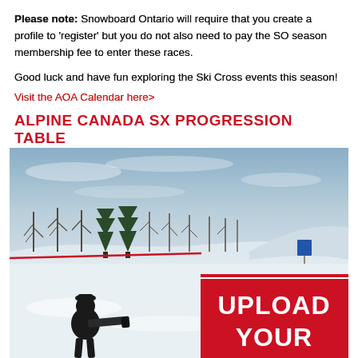Please note: Snowboard Ontario will require that you create a profile to 'register' but you do not also need to pay the SO season membership fee to enter these races.

Good luck and have fun exploring the Ski Cross events this season!

Visit the AOA Calendar here>
ALPINE CANADA SX PROGRESSION TABLE
[Figure (photo): Outdoor winter ski cross scene: snowy slope with bare trees and evergreens in background under a cloudy blue sky. A person in dark clothing is in the foreground aiming a camera or telescope. A red overlay box in the bottom right reads 'UPLOAD YOUR' in white bold text.]